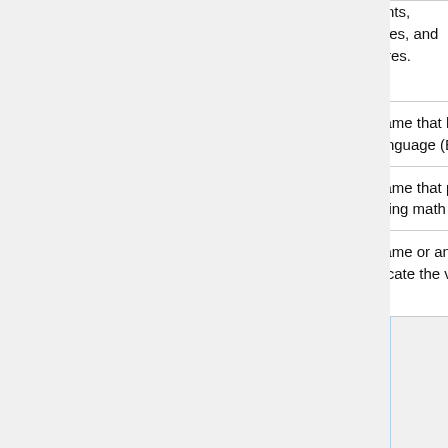| Category | Description | Example |
| --- | --- | --- |
|  | events, places, and figures. | Tumble Treasure |
| Language | A game that helps the player learn a language (English included). | Sushi Sp... |
| Mathematics | A game that primarily involves solving math problems. | Math Shootou... |
| Public Service | A game or animation that aims to educate the viewer, or | Spot it a Stop it - Interactiv... |